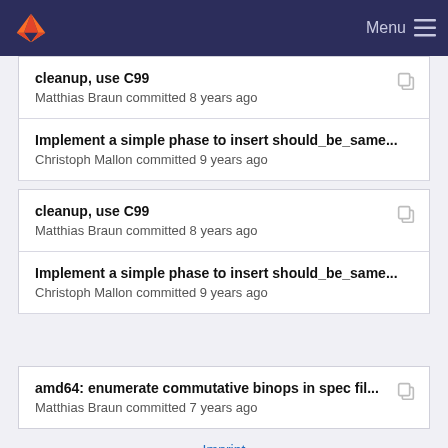GitLab — Menu
cleanup, use C99
Matthias Braun committed 8 years ago
Implement a simple phase to insert should_be_same...
Christoph Mallon committed 9 years ago
cleanup, use C99
Matthias Braun committed 8 years ago
Implement a simple phase to insert should_be_same...
Christoph Mallon committed 9 years ago
amd64: enumerate commutative binops in spec fil...
Matthias Braun committed 7 years ago
Imprint